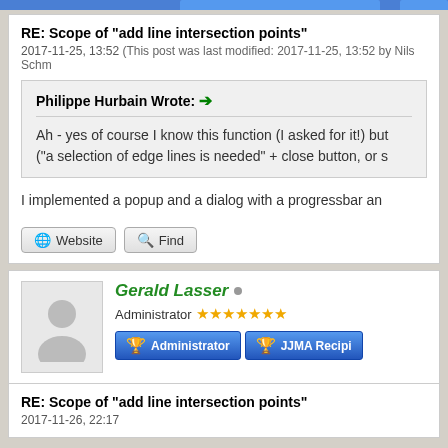RE: Scope of "add line intersection points"
2017-11-25, 13:52 (This post was last modified: 2017-11-25, 13:52 by Nils Schm
Philippe Hurbain Wrote: →
Ah - yes of course I know this function (I asked for it!) but ("a selection of edge lines is needed" + close button, or s
I implemented a popup and a dialog with a progressbar an
Website   Find
Gerald Lasser ● Administrator ★★★★★★★
RE: Scope of "add line intersection points"
2017-11-26, 22:17